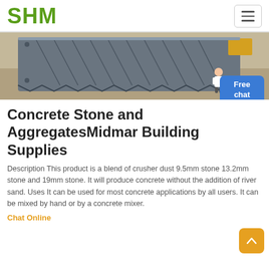SHM
[Figure (photo): Industrial machinery - conveyor or crusher equipment with metal plates/fins photographed from above, grey metal construction on a concrete floor background]
Concrete Stone and AggregatesMidmar Building Supplies
Description This product is a blend of crusher dust 9.5mm stone 13.2mm stone and 19mm stone. It will produce concrete without the addition of river sand. Uses It can be used for most concrete applications by all users. It can be mixed by hand or by a concrete mixer.
Chat Online